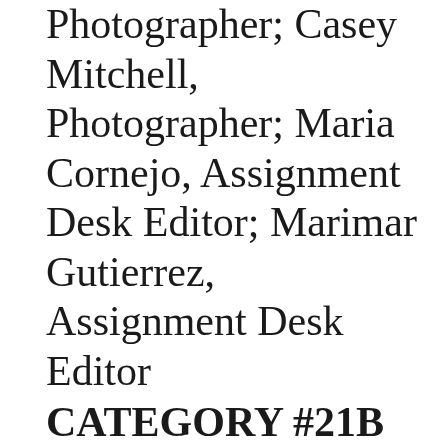Photographer; Casey Mitchell, Photographer; Maria Cornejo, Assignment Desk Editor; Marimar Gutierrez, Assignment Desk Editor
CATEGORY #21B